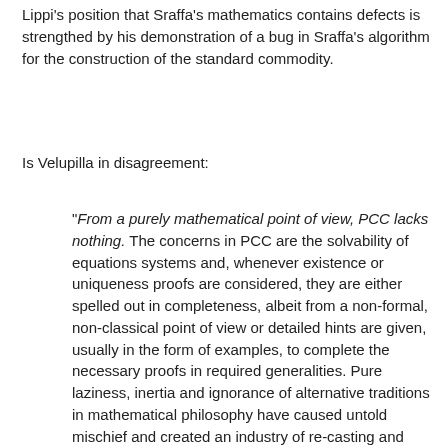Lippi's position that Sraffa's mathematics contains defects is strengthed by his demonstration of a bug in Sraffa's algorithm for the construction of the standard commodity.
Is Velupilla in disagreement:
"From a purely mathematical point of view, PCC lacks nothing. The concerns in PCC are the solvability of equations systems and, whenever existence or uniqueness proofs are considered, they are either spelled out in completeness, albeit from a non-formal, non-classical point of view or detailed hints are given, usually in the form of examples, to complete the necessary proofs in required generalities. Pure laziness, inertia and ignorance of alternative traditions in mathematical philosophy have caused untold mischief and created an industry of re-casting and distorting PCC, a work of aesthetic purity and mathematical elegance, into a trivial application, to a large extent, of linear algebra." -- Kumaraswamy Velupillai (2008) "Sraffa's Mathematics in Non-Standard Mathematics...